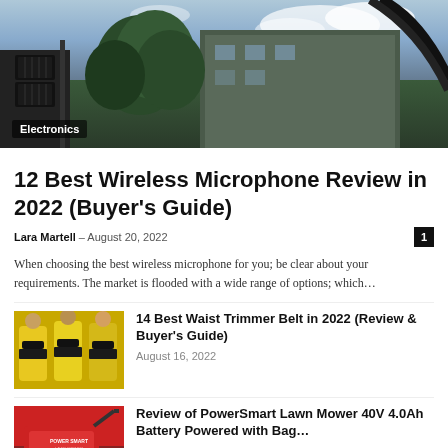[Figure (photo): Hero image showing audio equipment/speakers mounted on a structure with trees and buildings in background and cloudy sky]
Electronics
12 Best Wireless Microphone Review in 2022 (Buyer's Guide)
Lara Martell – August 20, 2022
When choosing the best wireless microphone for you; be clear about your requirements. The market is flooded with a wide range of options; which…
[Figure (photo): Three women wearing yellow workout outfits with black waist trimmer belts]
14 Best Waist Trimmer Belt in 2022 (Review & Buyer's Guide)
August 16, 2022
[Figure (photo): Red PowerSmart Lawn Mower product image]
Review of PowerSmart Lawn Mower 40V 4.0Ah Battery Powered with Bag…